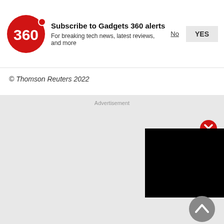[Figure (logo): Gadgets 360 red circular logo with '360' text]
Subscribe to Gadgets 360 alerts
For breaking tech news, latest reviews, and more
No
YES
© Thomson Reuters 2022
Advertisement
[Figure (screenshot): Video player with black background and red play button]
[Figure (other): Red circle close button with X]
[Figure (other): Grey scroll-to-top button with upward chevron]